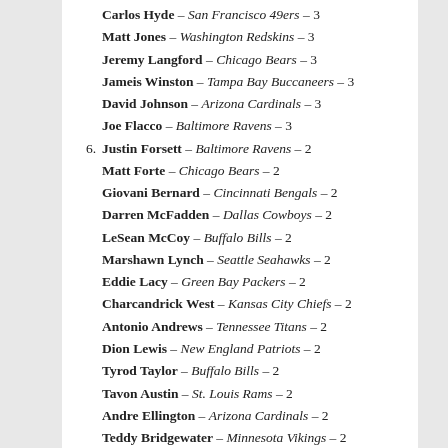Carlos Hyde – San Francisco 49ers – 3
Matt Jones – Washington Redskins – 3
Jeremy Langford – Chicago Bears – 3
Jameis Winston – Tampa Bay Buccaneers – 3
David Johnson – Arizona Cardinals – 3
Joe Flacco – Baltimore Ravens – 3
6. Justin Forsett – Baltimore Ravens – 2
Matt Forte – Chicago Bears – 2
Giovani Bernard – Cincinnati Bengals – 2
Darren McFadden – Dallas Cowboys – 2
LeSean McCoy – Buffalo Bills – 2
Marshawn Lynch – Seattle Seahawks – 2
Eddie Lacy – Green Bay Packers – 2
Charcandrick West – Kansas City Chiefs – 2
Antonio Andrews – Tennessee Titans – 2
Dion Lewis – New England Patriots – 2
Tyrod Taylor – Buffalo Bills – 2
Tavon Austin – St. Louis Rams – 2
Andre Ellington – Arizona Cardinals – 2
Teddy Bridgewater – Minnesota Vikings – 2
Andy Dalton – Cincinnati Bengals – 2
Tom Brady – New England Patriots – 2